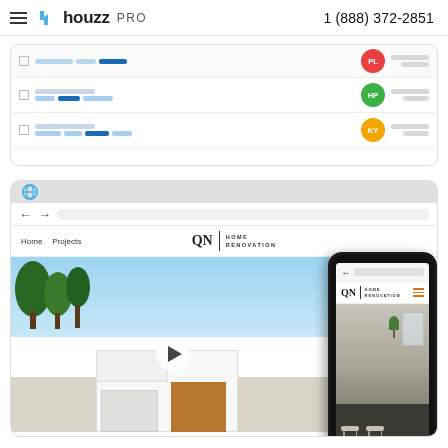houzz PRO | 1 (888) 372-2851
[Figure (screenshot): Screenshot of Houzz Pro project management interface showing rows with user avatars (PL in red, HP in green, KY in yellow/orange) and progress bar segments]
[Figure (screenshot): Screenshot of a browser window showing QN Home Renovation website with desktop and mobile views. Desktop shows a house exterior photo with a video play button. Mobile phone mockup shows a kitchen interior with bar stools.]